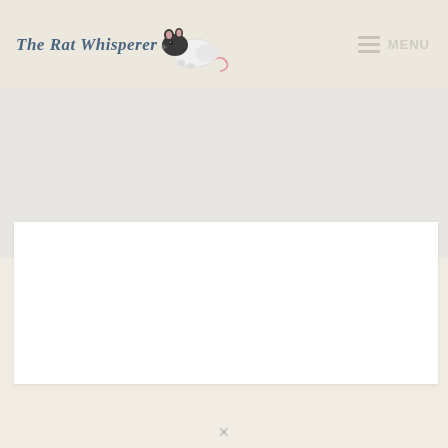The Rat Whisperer — MENU
[Figure (illustration): Website screenshot showing 'The Rat Whisperer' site header with logo text and an illustrated rat graphic, plus a hamburger menu icon labeled MENU on the right. Below the header is a light gray content area with a white card panel.]